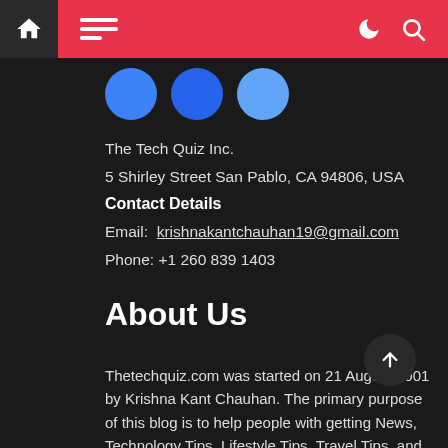The Tech Quiz Inc. website header navigation bar
[Figure (illustration): Three blue circle social media icons]
The Tech Quiz Inc.
5 Shirley Street San Pablo, CA 94806, USA
Contact Details
Email: krishnakantchauhan19@gmail.com
Phone: +1 260 839 1403
About Us
Thetechquiz.com was started on 21 August 2001 by Krishna Kant Chauhan. The primary purpose of this blog is to help people with getting News, Technology Tips, Lifestyle Tips, Travel Tips, and Social tips. Thetechquiz.com is the necessary thing of life which is changing our life activity so, we are the goal is Share about new technology tips that surely help to people.